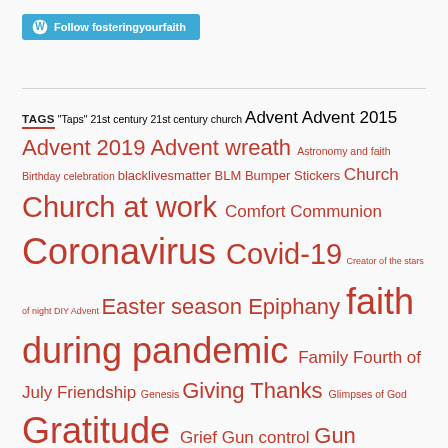[Figure (screenshot): WordPress Follow button for fosteringyourfaith blog]
TAGS "Taps" 21st century 21st century church Advent Advent 2015 Advent 2019 Advent wreath Astronomy and faith Birthday celebration blacklivesmatter BLM Bumper Stickers Church Church at work Comfort Communion Coronavirus Covid-19 Creator of the stars of night DIY Advent Easter season Epiphany faith during pandemic Family Fourth of July Friendship Genesis Giving Thanks Glimpses of God Gratitude Grief Gun control Gun violence Gymnastics Hanukkah Holy Week Hospitality Intercessory prayer Interfaith Jamboree Jewish-Christian Kindness Lent 2016 Lent 2021 LGBT LGBTQ